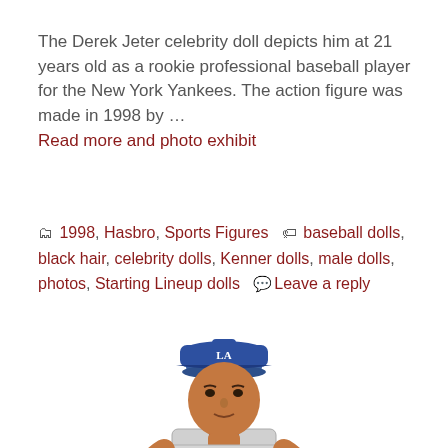The Derek Jeter celebrity doll depicts him at 21 years old as a rookie professional baseball player for the New York Yankees. The action figure was made in 1998 by … Read more and photo exhibit
1998, Hasbro, Sports Figures  baseball dolls, black hair, celebrity dolls, Kenner dolls, male dolls, photos, Starting Lineup dolls  Leave a reply
[Figure (photo): Photo of a Derek Jeter Starting Lineup action figure doll wearing a Dodgers gray baseball uniform with a blue cap, holding a baseball glove and ball]